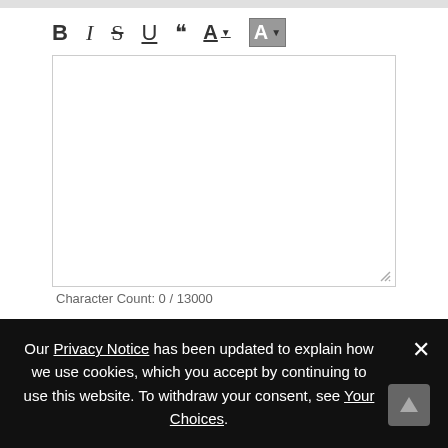[Figure (screenshot): Text editor toolbar with formatting buttons: B (bold), I (italic), S (strikethrough), U (underline), quotation mark button, A with dropdown, and highlighted A with dropdown]
[Figure (screenshot): Empty text editor/textarea with resize handle at bottom right]
Character Count: 0 / 13000
Hate the CAPTCHA? Tor.com members can edit comments, skip the preview, and never have to prove
Our Privacy Notice has been updated to explain how we use cookies, which you accept by continuing to use this website. To withdraw your consent, see Your Choices.